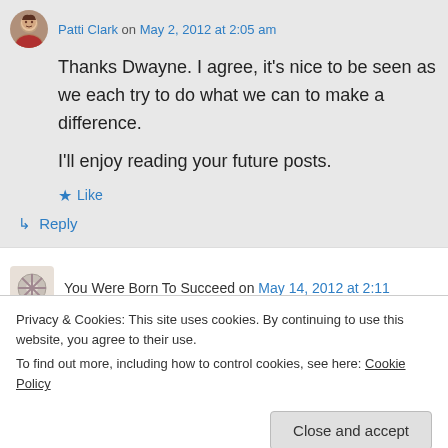Patti Clark on May 2, 2012 at 2:05 am
Thanks Dwayne. I agree, it's nice to be seen as we each try to do what we can to make a difference.
I'll enjoy reading your future posts.
Like
Reply
You Were Born To Succeed on May 14, 2012 at 2:11
Privacy & Cookies: This site uses cookies. By continuing to use this website, you agree to their use.
To find out more, including how to control cookies, see here: Cookie Policy
Close and accept